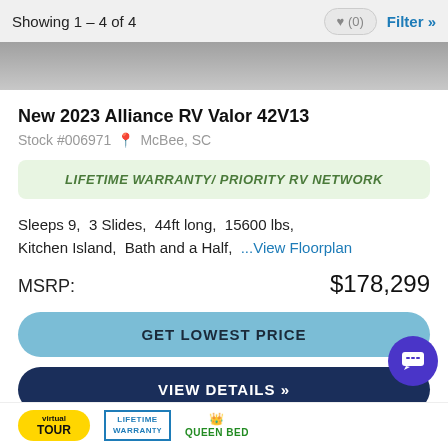Showing 1 - 4 of 4
New 2023 Alliance RV Valor 42V13
Stock #006971  McBee, SC
LIFETIME WARRANTY/ PRIORITY RV NETWORK
Sleeps 9,  3 Slides,  44ft long,  15600 lbs, Kitchen Island,  Bath and a Half,  ...View Floorplan
MSRP:  $178,299
GET LOWEST PRICE
VIEW DETAILS »